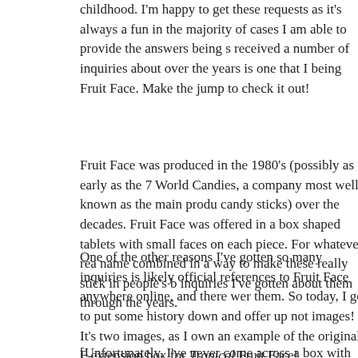childhood.  I'm happy to get these requests as it's always a fun in the majority of cases I am able to provide the answers being s received a number of inquiries about over the years is one that I being Fruit Face.  Make the jump to check it out!
Fruit Face was produced in the 1980's (possibly as early as the 7 World Candies, a company most well known as the main produ candy sticks) over the decades.  Fruit Face was offered in a box shaped tablets with small faces on each piece.  For whatever rea name combined in a way to make these really stick in people's b inquiries I've gotten about them through the years.
One of the other reasons I've gotten so many inquiries is likely official references to Fruit Face anywhere online, and there wer them.  So today, I get to put some history down and offer up not images!   It's two images, as I own an example of the original F extension box for Tropical Fruit Face!
[Unfortunately, I've never come across a box with the unusual F